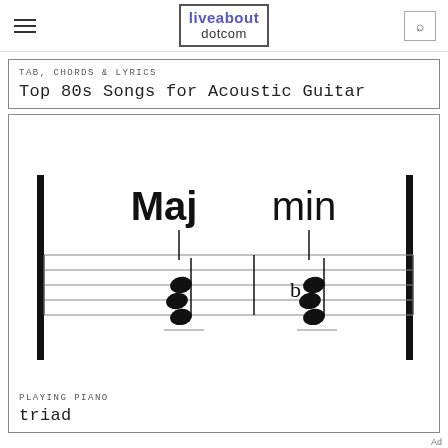liveabout dotcom
TAB, CHORDS & LYRICS
Top 80s Songs for Acoustic Guitar
[Figure (illustration): Music notation showing Maj and min triads on a staff with bar lines]
PLAYING PIANO
triad
Ad
We help people find answers, solve problems and get inspired. Dotdash meredith